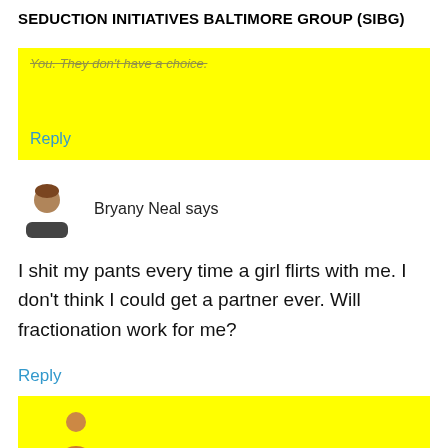SEDUCTION INITIATIVES BALTIMORE GROUP (SIBG)
[Figure (other): Yellow highlighted comment block (partially visible, cut off at top), with a 'Reply' link in cyan/blue]
Bryany Neal says
I shit my pants every time a girl flirts with me. I don't think I could get a partner ever. Will fractionation work for me?
Reply
[Figure (other): Yellow highlighted block partially visible at the bottom of the page, with a circular avatar partially visible]